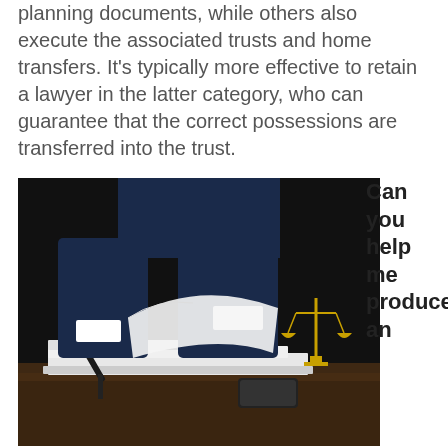planning documents, while others also execute the associated trusts and home transfers. It's typically more effective to retain a lawyer in the latter category, who can guarantee that the correct possessions are transferred into the trust.
[Figure (photo): A lawyer in a dark suit signing or flipping through documents on a desk, with a golden scales of justice in the background on the right side.]
Can you help me produce an